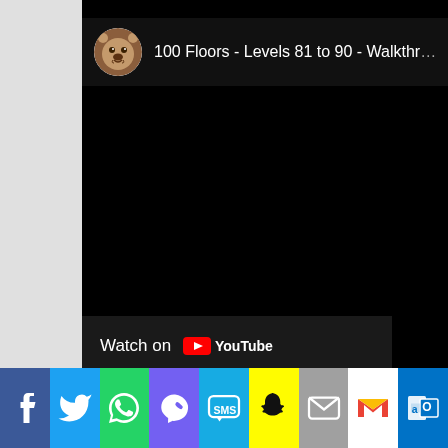[Figure (screenshot): YouTube embedded video player showing '100 Floors - Levels 81 to 90 - Walkthroughs' with a bear channel icon, black video area, and 'Watch on YouTube' bar at the bottom]
[Figure (infographic): Social sharing bar with icons for Facebook, Twitter, WhatsApp, Viber, SMS, Snapchat, Email, Gmail, and Outlook]